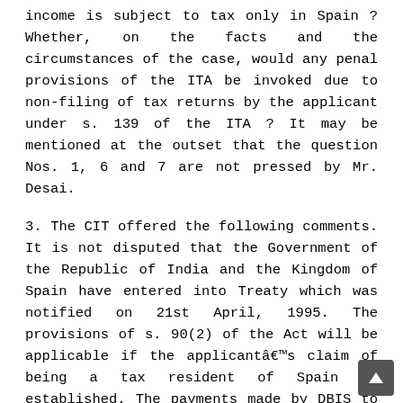income is subject to tax only in Spain ? Whether, on the facts and the circumstances of the case, would any penal provisions of the ITA be invoked due to non-filing of tax returns by the applicant under s. 139 of the ITA ? It may be mentioned at the outset that the question Nos. 1, 6 and 7 are not pressed by Mr. Desai.
3. The CIT offered the following comments. It is not disputed that the Government of the Republic of India and the Kingdom of Spain have entered into Treaty which was notified on 21st April, 1995. The provisions of s. 90(2) of the Act will be applicable if the applicant’s claim of being a tax resident of Spain is established. The payments made by DBIS to the applicant for electronic purchases of business information reports, are part of applicant’s revenue receipts so the taxability will have to be considered under art. 7 r/w art. 5 of the Treaty. On the facts and circumstances of the case, the applicant would be held as having PE in India under art. 5 of the Treaty. Many appellate authoriti held that the server located in India would constitute a PE of th